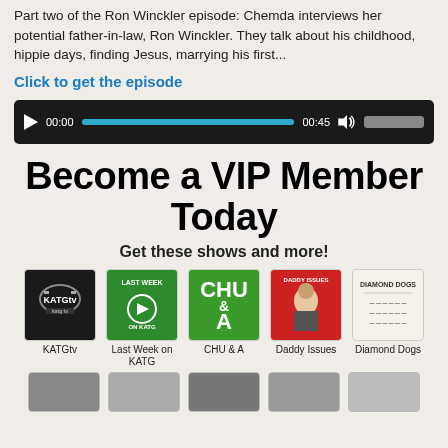Part two of the Ron Winckler episode: Chemda interviews her potential father-in-law, Ron Winckler. They talk about his childhood, hippie days, finding Jesus, marrying his first...
Click to get the episode
[Figure (screenshot): Audio player with play button, time stamps 00:00 and 00:45, progress bar in teal, volume icon and volume slider on dark background]
Become a VIP Member Today
Get these shows and more!
[Figure (infographic): Row of five show thumbnails: KATGtv (dark background with KATG tv logo), Last Week on KATG (green with play button), CHU & A (green with text), Daddy Issues (red with man portrait), Diamond Dogs (beige/cream with text). Labels below each thumbnail.]
[Figure (infographic): Partial row of show thumbnails at bottom, partially cut off]